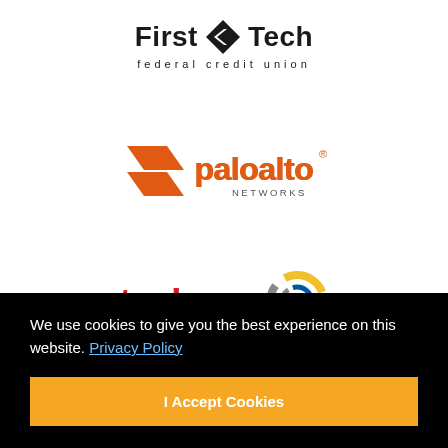[Figure (logo): First Tech Federal Credit Union logo — bold black text 'First Tech' with a diamond/arrow icon, and tagline 'federal credit union' in spaced lettering below]
[Figure (logo): Palo Alto Networks logo — orange chevron stripes icon followed by 'paloalto' in orange lowercase with 'NETWORKS' subtitle and registered trademark symbol]
[Figure (logo): Tech CU - Technology Credit Union logo — 'tech' in red bold lowercase, 'cu' in gray with a circular multicolor swirl icon, and 'TECHNOLOGY CREDIT UNION' tagline below]
We use cookies to give you the best experience on this website. Privacy Policy
I Accept Cookies